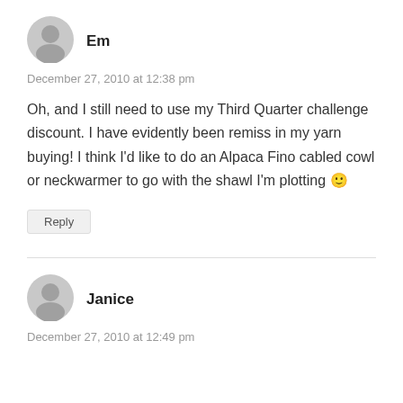[Figure (illustration): Gray default user avatar icon (circle with person silhouette) for user Em]
Em
December 27, 2010 at 12:38 pm
Oh, and I still need to use my Third Quarter challenge discount. I have evidently been remiss in my yarn buying! I think I'd like to do an Alpaca Fino cabled cowl or neckwarmer to go with the shawl I'm plotting 😊
Reply
[Figure (illustration): Gray default user avatar icon (circle with person silhouette) for user Janice]
Janice
December 27, 2010 at 12:49 pm